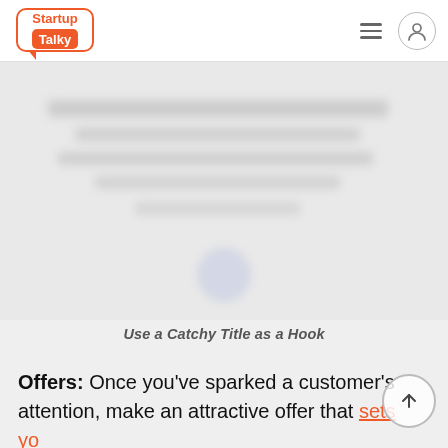StartupTalky
[Figure (illustration): Blurred/faded image placeholder showing indistinct content with a caption below reading 'Use a Catchy Title as a Hook']
Use a Catchy Title as a Hook
Offers: Once you've sparked a customer's attention, make an attractive offer that sets yo...